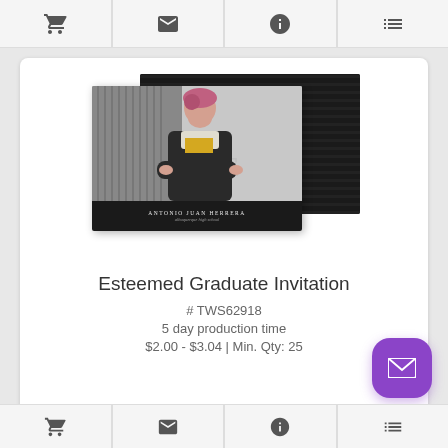[Figure (screenshot): Top navigation bar with four icons: shopping cart, envelope, info (i), and list/grid view]
[Figure (photo): Graduation announcement card product mockup showing a young man with pink hair smiling, wearing a black jacket over a yellow shirt with arms crossed. Card front shows ANTONIO JUAN HERRERA / albuquerque high school. A dark diagonal-striped card is visible behind.]
Esteemed Graduate Invitation
# TWS62918
5 day production time
$2.00 - $3.04 | Min. Qty: 25
[Figure (screenshot): Bottom navigation bar with four icons: shopping cart, envelope, info (i), and list/grid view]